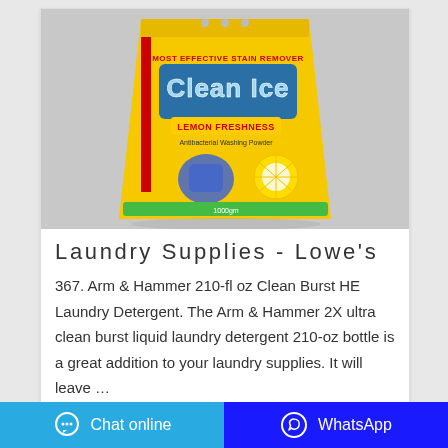[Figure (photo): Yellow bag of laundry detergent powder labeled 'Clean Ice Lemon Freshness - Most Effective Stain Remover' displayed against a light gray background]
Laundry Supplies - Lowe's
367. Arm & Hammer 210-fl oz Clean Burst HE Laundry Detergent. The Arm & Hammer 2X ultra clean burst liquid laundry detergent 210-oz bottle is a great addition to your laundry supplies. It will leave ...
Chat online   WhatsApp